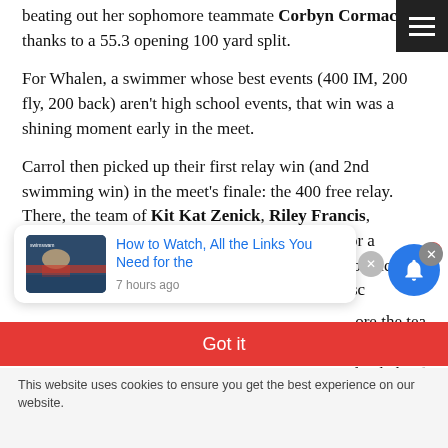beating out her sophomore teammate Corbyn Cormack thanks to a 55.3 opening 100 yard split.
For Whalen, a swimmer whose best events (400 IM, 200 fly, 200 back) aren't high school events, that win was a shining moment early in the meet.
Carrol then picked up their first relay win (and 2nd swimming win) in the meet's finale: the 400 free relay. There, the team of Kit Kat Zenick, Riley Francis, Natalie Whalen, and Ashley Zettle combined for a 3:22.90. That was an emphatic 5-second margin of victory over the runner-up from the Woodlands to underscore the tea... nick was the ... splits beh...
[Figure (screenshot): Popup card with swimmer thumbnail image and link text 'How to Watch, All the Links You Need for the' with timestamp '7 hours ago']
Got it
This website uses cookies to ensure you get the best experience on our website.